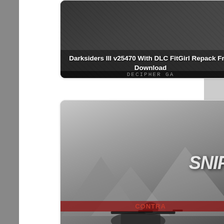[Figure (screenshot): Darksiders III game card with dark background and text overlay reading 'Darksiders III v25470 With DLC FitGirl Repack Free Download']
[Figure (screenshot): Sniper Ghost Warrior Contracts game card showing sniper with rifle, mountain background, SNIPE and CONTRA text overlays, with title 'Sniper Ghost Warrior Contracts Update 1 + 9 DLCs Free...']
Edition v1.4.1 All DLCs FitGirl Repack Free Download
Elite 4 Deluxe Edition v1.4.1 All DLCs FitGirl Repack Free Download
Free Download
Sniper
Sniper Elite 4 Deluxe
Sniper Elite 4 Deluxe Edition v1.4.1 All DLCs FitGirl Repack
Sniper Elite 4 Deluxe Edition v1.4.1 All DLCs FitGirl Repack Free Download
Go to Top